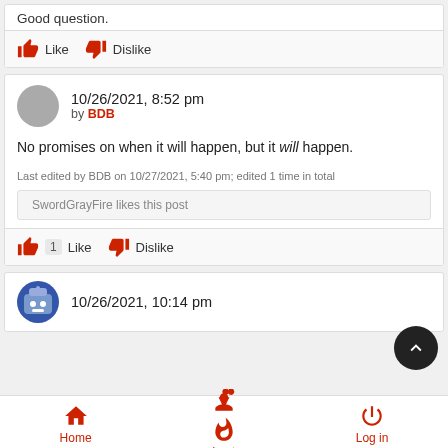Good question.
Like   Dislike
10/26/2021, 8:52 pm by BDB
No promises on when it will happen, but it will happen.
Last edited by BDB on 10/27/2021, 5:40 pm; edited 1 time in total
SwordGrayFire likes this post
1  Like   Dislike
10/26/2021, 10:14 pm
Home   Last   Log in